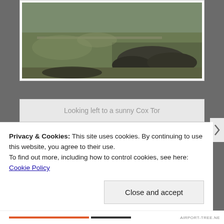[Figure (photo): Aerial/landscape photo of rocky moorland with green grassy hills and dark rock formations — partially cropped at top of page]
Looking left to a sunny Cox Tor
[Figure (photo): Landscape photo of a tall triangular stone or metal post/trig point in the foreground against a wide open valley with green fields and a large cloudy sky — Dartmoor or similar moorland location]
Privacy & Cookies: This site uses cookies. By continuing to use this website, you agree to their use.
To find out more, including how to control cookies, see here: Cookie Policy
Close and accept